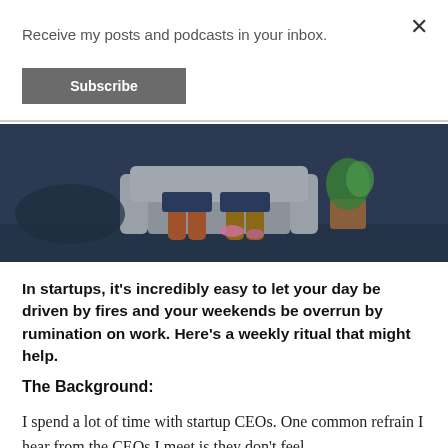Receive my posts and podcasts in your inbox.
Subscribe
[Figure (illustration): Illustrated scene of people sitting on a couch in a dark-themed room with a plant in the background and small pink accent lights on the floor.]
In startups, it’s incredibly easy to let your day be driven by fires and your weekends be overrun by rumination on work. Here’s a weekly ritual that might help.
The Background:
I spend a lot of time with startup CEOs. One common refrain I hear from the CEOs I meet is they don’t feel